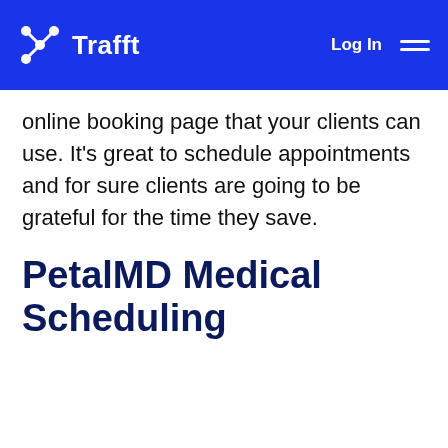Trafft — Log In
online booking page that your clients can use. It's great to schedule appointments and for sure clients are going to be grateful for the time they save.
PetalMD Medical Scheduling